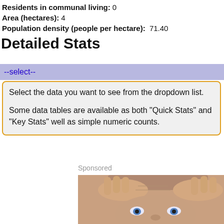Residents in communal living: 0
Area (hectares): 4
Population density (people per hectare): 71.40
Detailed Stats
--select--
Select the data you want to see from the dropdown list.

Some data tables are available as both "Quick Stats" and "Key Stats" well as simple numeric counts.
Sponsored
[Figure (photo): Advertisement photo showing a person holding their hands up to their face/forehead, looking stressed or worried, with blue eyes visible.]